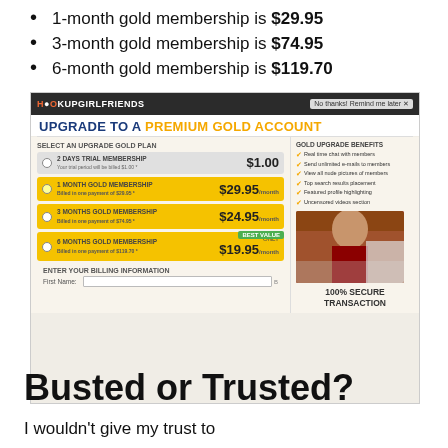1-month gold membership is $29.95
3-month gold membership is $74.95
6-month gold membership is $119.70
[Figure (screenshot): Screenshot of HookupGirlfriends website showing upgrade to premium gold account page with plan options: 2 Days Trial Membership $1.00, 1 Month Gold Membership $29.95/month, 3 Months Gold Membership $24.95/month, 6 Months Gold Membership $19.95/month (Best Value), billing information form, and gold upgrade benefits list with photo.]
Busted or Trusted?
I wouldn't give my trust to